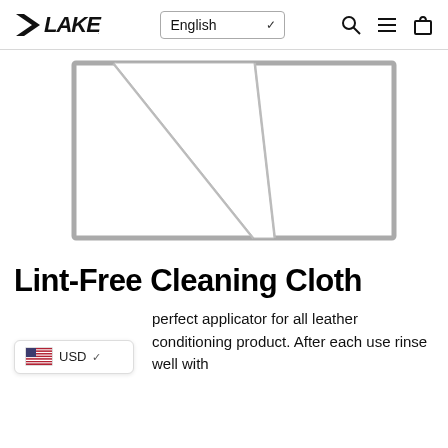LAKE | English | Search | Menu | Cart
[Figure (illustration): Line drawing illustration of a folded cleaning cloth, shown from above with diagonal fold lines visible, rendered in gray outline on white background.]
Lint-Free Cleaning Cloth
perfect applicator for all leather conditioning product. After each use rinse well with